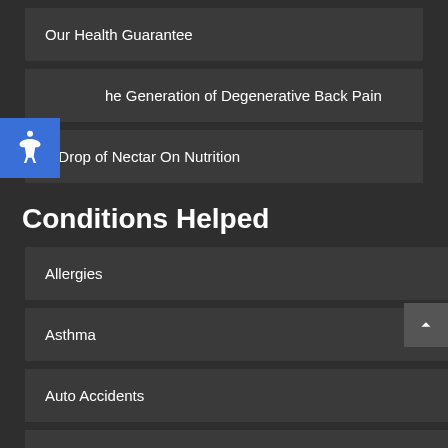Our Health Guarantee
he Generation of Degenerative Back Pain
A Drop of Nectar On Nutrition
Conditions Helped
Allergies
Asthma
Auto Accidents
Back Pain